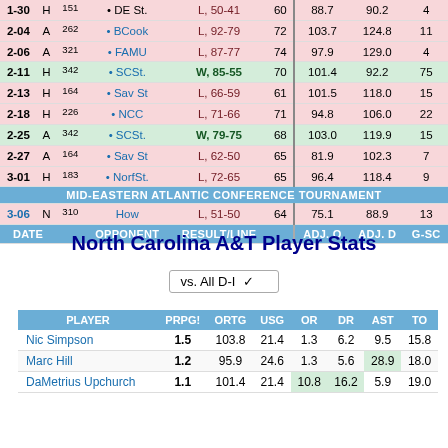| DATE |  |  | OPPONENT | RESULT/LINE |  | ADJ. O | ADJ. D | G-SC |
| --- | --- | --- | --- | --- | --- | --- | --- | --- |
| 1-30 | H | 151 | • DE St. | L, 50-41 | 60 | 88.7 | 90.2 | 4 |
| 2-04 | A | 262 | • BCook | L, 92-79 | 72 | 103.7 | 124.8 | 11 |
| 2-06 | A | 321 | • FAMU | L, 87-77 | 74 | 97.9 | 129.0 | 4 |
| 2-11 | H | 342 | • SCSt. | W, 85-55 | 70 | 101.4 | 92.2 | 75 |
| 2-13 | H | 164 | • Sav St | L, 66-59 | 61 | 101.5 | 118.0 | 15 |
| 2-18 | H | 226 | • NCC | L, 71-66 | 71 | 94.8 | 106.0 | 22 |
| 2-25 | A | 342 | • SCSt. | W, 79-75 | 68 | 103.0 | 119.9 | 15 |
| 2-27 | A | 164 | • Sav St | L, 62-50 | 65 | 81.9 | 102.3 | 7 |
| 3-01 | H | 183 | • NorfSt. | L, 72-65 | 65 | 96.4 | 118.4 | 9 |
| MID-EASTERN ATLANTIC CONFERENCE TOURNAMENT |
| 3-06 | N | 310 | How | L, 51-50 | 64 | 75.1 | 88.9 | 13 |
| DATE |  |  | OPPONENT | RESULT/LINE |  | ADJ. O | ADJ. D | G-SC |
North Carolina A&T Player Stats
vs. All D-I
| PLAYER | PRPG! | ORTG | USG | OR | DR | AST | TO |
| --- | --- | --- | --- | --- | --- | --- | --- |
| Nic Simpson | 1.5 | 103.8 | 21.4 | 1.3 | 6.2 | 9.5 | 15.8 |
| Marc Hill | 1.2 | 95.9 | 24.6 | 1.3 | 5.6 | 28.9 | 18.0 |
| DaMetrius Upchurch | 1.1 | 101.4 | 21.4 | 10.8 | 16.2 | 5.9 | 19.0 |